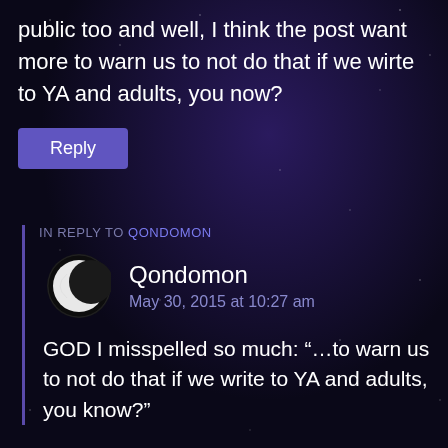public too and well, I think the post want more to warn us to not do that if we wirte to YA and adults, you now?
Reply
IN REPLY TO QONDOMON
Qondomon
May 30, 2015 at 10:27 am
GOD I misspelled so much: “…to warn us to not do that if we write to YA and adults, you know?”